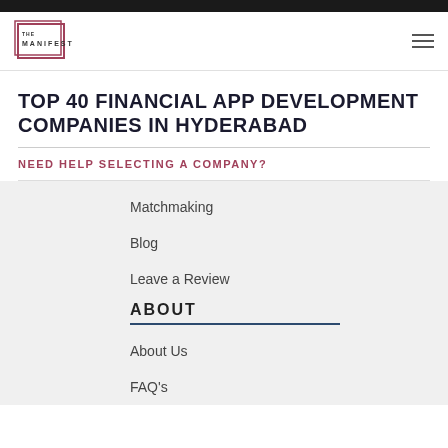THE MANIFEST
TOP 40 FINANCIAL APP DEVELOPMENT COMPANIES IN HYDERABAD
NEED HELP SELECTING A COMPANY?
Matchmaking
Blog
Leave a Review
ABOUT
About Us
FAQ's